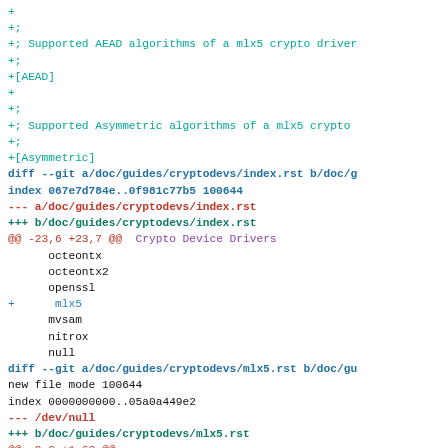diff --git code block showing crypto driver documentation patch
[Figure (screenshot): Git diff output showing additions to mlx5 crypto driver documentation, including AEAD and Asymmetric algorithm sections, index.rst updates, and mlx5.rst new file creation with SPDX license identifier and NVIDIA copyright.]